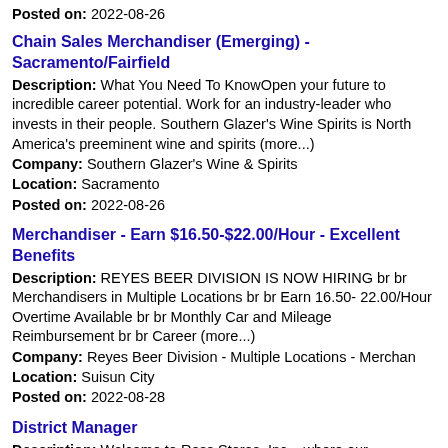Posted on: 2022-08-26
Chain Sales Merchandiser (Emerging) - Sacramento/Fairfield
Description: What You Need To KnowOpen your future to incredible career potential. Work for an industry-leader who invests in their people. Southern Glazer's Wine Spirits is North America's preeminent wine and spirits (more...)
Company: Southern Glazer's Wine & Spirits
Location: Sacramento
Posted on: 2022-08-26
Merchandiser - Earn $16.50-$22.00/Hour - Excellent Benefits
Description: REYES BEER DIVISION IS NOW HIRING br br Merchandisers in Multiple Locations br br Earn 16.50- 22.00/Hour Overtime Available br br Monthly Car and Mileage Reimbursement br br Career (more...)
Company: Reyes Beer Division - Multiple Locations - Merchan
Location: Suisun City
Posted on: 2022-08-28
District Manager
Description: Welcome to Ross Stores, Inc ., where our differences make us stronger--- At Ross and dd's, inclusion is a way of life . We care about our Associates and the communities we serve and we value their (more...)